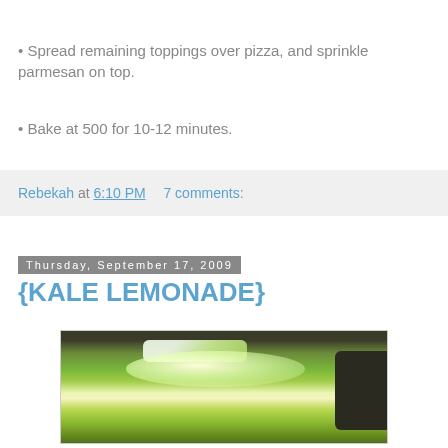• Spread remaining toppings over pizza, and sprinkle parmesan on top.
• Bake at 500 for 10-12 minutes.
Rebekah at 6:10 PM    7 comments:
Thursday, September 17, 2009
{KALE LEMONADE}
[Figure (photo): A glass of green kale lemonade with ice, photographed on a wooden surface. The drink is a bright green color with a white/glowing highlight in the center, and a piece of ice or lemon visible at the top.]